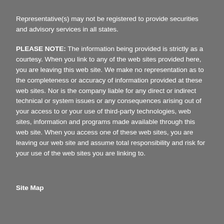Representative(s) may not be registered to provide securities and advisory services in all states.
PLEASE NOTE: The information being provided is strictly as a courtesy. When you link to any of the web sites provided here, you are leaving this web site. We make no representation as to the completeness or accuracy of information provided at these web sites. Nor is the company liable for any direct or indirect technical or system issues or any consequences arising out of your access to or your use of third-party technologies, web sites, information and programs made available through this web site. When you access one of these web sites, you are leaving our web site and assume total responsibility and risk for your use of the web sites you are linking to.
Site Map